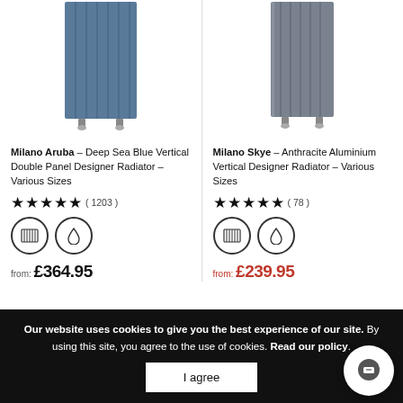[Figure (photo): Milano Aruba Deep Sea Blue Vertical Double Panel Designer Radiator product image]
[Figure (photo): Milano Skye Anthracite Aluminium Vertical Designer Radiator product image]
Milano Aruba – Deep Sea Blue Vertical Double Panel Designer Radiator – Various Sizes
Milano Skye – Anthracite Aluminium Vertical Designer Radiator – Various Sizes
★★★★★ ( 1203 )
★★★★★ ( 78 )
from: £364.95
from: £239.95
Our website uses cookies to give you the best experience of our site. By using this site, you agree to the use of cookies. Read our policy.
I agree